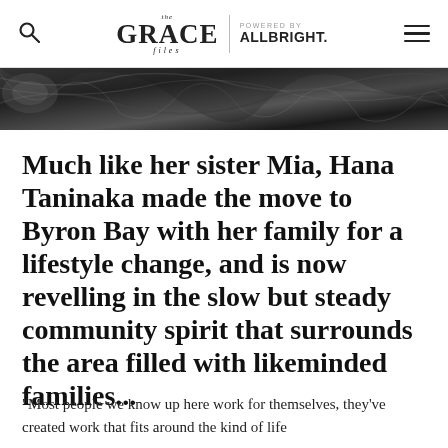The Grace Files | Powered by ALLBRIGHT.
[Figure (photo): Black and white close-up photo of dark draped fabric or clothing, partially visible at the top of the page.]
Much like her sister Mia, Hana Taninaka made the move to Byron Bay with her family for a lifestyle change, and is now revelling in the slow but steady community spirit that surrounds the area filled with likeminded families...
“Most people we know up here work for themselves, they’ve created work that fits around the kind of life